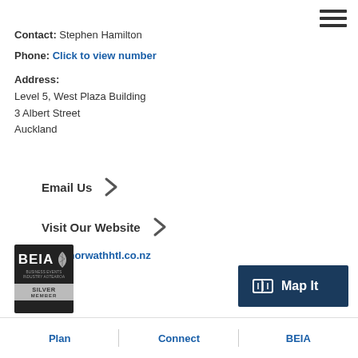Contact: Stephen Hamilton
Phone: Click to view number
Address:
Level 5, West Plaza Building
3 Albert Street
Auckland
Email Us
Visit Our Website
www.horwathhtl.co.nz
[Figure (logo): BEIA Silver Member badge with fern logo]
[Figure (other): Map It button with map icon]
Plan | Connect | BEIA